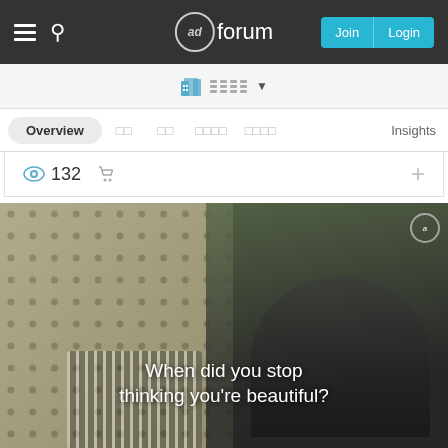adforum — Join | Login
[Figure (screenshot): Navigation bar with building icon and menu bars dropdown]
Overview  □□  □□  □□□□  □□□□  Insights
👁 132  🛒  +
[Figure (photo): Video thumbnail showing a child lying on a sofa holding a pillow with polka-dot pattern. Text overlay reads: When did you stop thinking you're beautiful?]